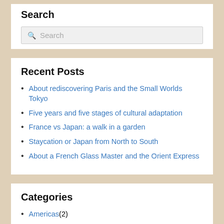Search
Search (input box)
Recent Posts
About rediscovering Paris and the Small Worlds Tokyo
Five years and five stages of cultural adaptation
France vs Japan: a walk in a garden
Staycation or Japan from North to South
About a French Glass Master and the Orient Express
Categories
Americas (2)
Asia-Pacific (9)
Culture (29)